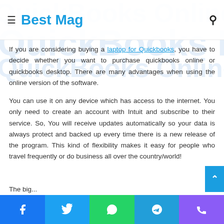Best Mag
If you are considering buying a laptop for Quickbooks, you have to decide whether you want to purchase quickbooks online or quickbooks desktop. There are many advantages when using the online version of the software.
You can use it on any device which has access to the internet. You only need to create an account with Intuit and subscribe to their service. So, You will receive updates automatically so your data is always protect and backed up every time there is a new release of the program. This kind of flexibility makes it easy for people who travel frequently or do business all over the country/world!